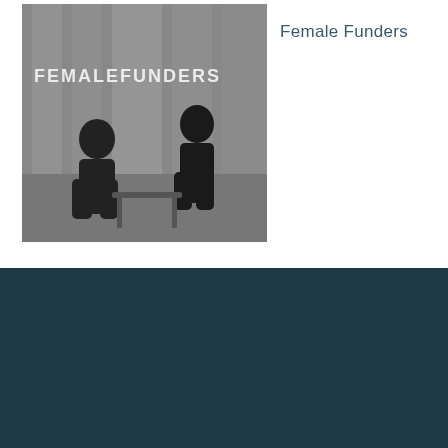[Figure (photo): Black and white photo of two women sitting across from each other in a modern office or lobby setting, with 'Female Funders' text overlaid on the image]
Female Funders
[Figure (logo): Ideator logo — white text 'IDEATOR' inside a rectangle with radiating sunburst lines, on dark teal background]
About
Signup
Contact
Social Impact
© 2022 Ideator Inc.
Let us help you innovate faster